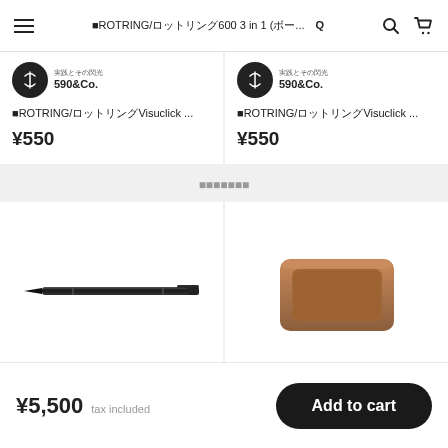≡ ROTRING/ロットリング600 3 in 1 (ボー... 🔍 🛒
[Figure (screenshot): Product card left: store logo 590&Co., product title ROTRING/ロットリングVisuclick ..., price ¥550]
[Figure (screenshot): Product card right: store logo 590&Co., product title ROTRING/ロットリングVisuclick ..., price ¥550]
関連する商品
[Figure (photo): Black pen product image on white background]
[Figure (photo): Brown leather tray / small rectangular dish product image on white background]
¥5,500 tax included
Add to cart